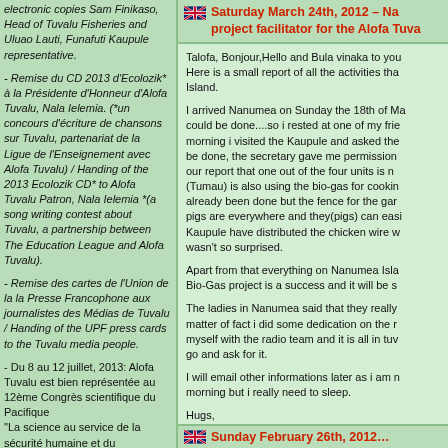electronic copies Sam Finikaso, Head of Tuvalu Fisheries and Uluao Lauti, Funafuti Kaupule representative.
- Remise du CD 2013 d'Ecolozik* à la Présidente d'Honneur d'Alofa Tuvalu, Nala Ielemia. (*un concours d'écriture de chansons sur Tuvalu, partenariat de la Ligue de l'Enseignement avec Alofa Tuvalu) / Handing of the 2013 Ecolozik CD* to Alofa Tuvalu Patron, Nala Ielemia *(a song writing contest about Tuvalu, a partnership between The Education League and Alofa Tuvalu).
- Remise des cartes de l'Union de la la Presse Francophone aux journalistes des Médias de Tuvalu / Handing of the UPF press cards to the Tuvalu media people.
- Du 8 au 12 juillet, 2013: Alofa Tuvalu est bien représentée au 12ème Congrès scientifique du Pacifique "La science au service de la sécurité humaine et du Développement durable
Saturday March 24th, 2012 – Na… project facilitator for the Alofa Tuva…
Talofa, Bonjour,Hello and Bula vinaka to you… Here is a small report of all the activities tha… Island.
I arrived Nanumea on Sunday the 18th of Ma… could be done....so i rested at one of my frie… morning i visited the Kaupule and asked the… be done, the secretary gave me permission … our report that one out of the four units is n… (Tumau) is also using the bio-gas for cookin… already been done but the fence for the gar… pigs are everywhere and they(pigs) can easi… Kaupule have distributed the chicken wire w… wasn't so surprised.
Apart from that everything on Nanumea Isla… Bio-Gas project is a success and it will be s…
The ladies in Nanumea said that they really … matter of fact i did some dedication on the r… myself with the radio team and it is all in tuv… go and ask for it.
I will email other informations later as i am n… morning but i really need to sleep.
Hugs,
Kaio
Sunday February 26th, 2012…